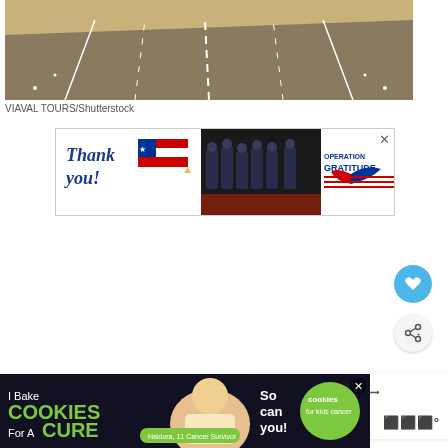[Figure (photo): Aerial view of a highway road with lane markings]
VIAVAL TOURS/Shutterstock
[Figure (photo): Operation Gratitude thank you advertisement banner with firefighters]
[Figure (infographic): Heart/like button (blue circle with heart icon)]
[Figure (infographic): Share button (light circle with share icon)]
[Figure (infographic): What's Next panel - 11 Best Science... with thumbnail]
[Figure (photo): I Bake Cookies For A Cure - cookies for kids cancer advertisement banner]